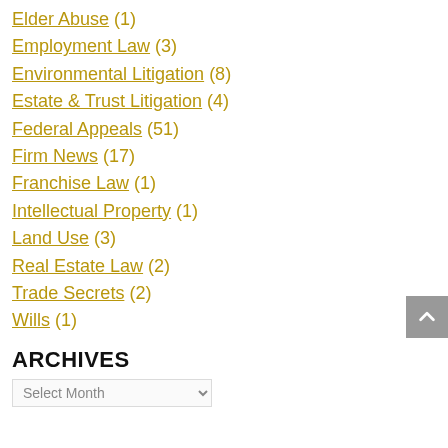Elder Abuse (1)
Employment Law (3)
Environmental Litigation (8)
Estate & Trust Litigation (4)
Federal Appeals (51)
Firm News (17)
Franchise Law (1)
Intellectual Property (1)
Land Use (3)
Real Estate Law (2)
Trade Secrets (2)
Wills (1)
ARCHIVES